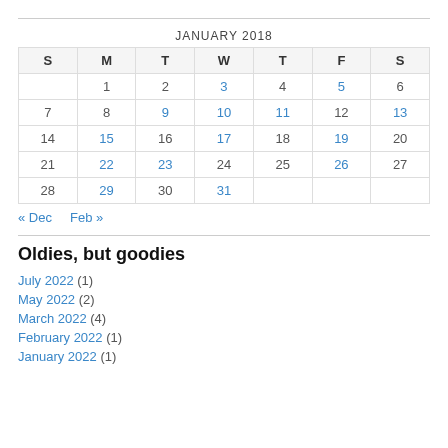| S | M | T | W | T | F | S |
| --- | --- | --- | --- | --- | --- | --- |
|  | 1 | 2 | 3 | 4 | 5 | 6 |
| 7 | 8 | 9 | 10 | 11 | 12 | 13 |
| 14 | 15 | 16 | 17 | 18 | 19 | 20 |
| 21 | 22 | 23 | 24 | 25 | 26 | 27 |
| 28 | 29 | 30 | 31 |  |  |  |
« Dec  Feb »
Oldies, but goodies
July 2022 (1)
May 2022 (2)
March 2022 (4)
February 2022 (1)
January 2022 (1)